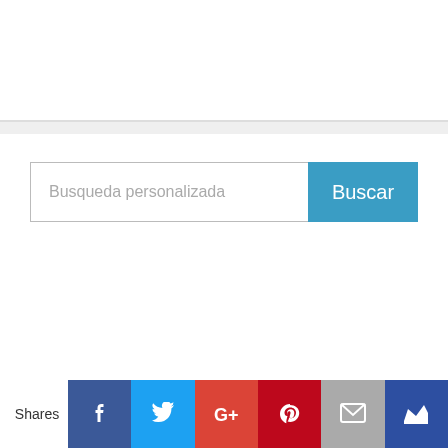[Figure (screenshot): Search bar UI with text input placeholder 'Busqueda personalizada' and a blue 'Buscar' button]
Shares
[Figure (infographic): Social sharing icon bar with Facebook, Twitter, Google+, Pinterest, Email, and Crown icons]